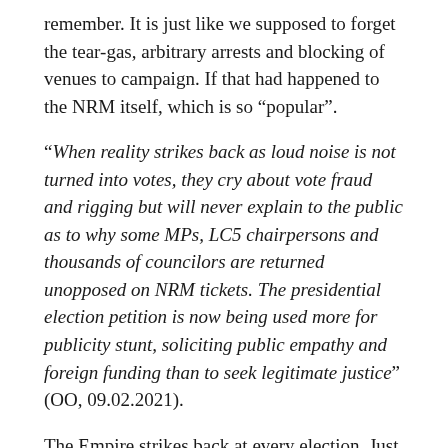remember. It is just like we supposed to forget the tear-gas, arbitrary arrests and blocking of venues to campaign. If that had happened to the NRM itself, which is so “popular”.
“When reality strikes back as loud noise is not turned into votes, they cry about vote fraud and rigging but will never explain to the public as to why some MPs, LC5 chairpersons and thousands of councilors are returned unopposed on NRM tickets. The presidential election petition is now being used more for publicity stunt, soliciting public empathy and foreign funding than to seek legitimate justice” (OO, 09.02.2021).
The Empire strikes back at every election. Just like previously stated, the pre-ticked ballots and ghosts are